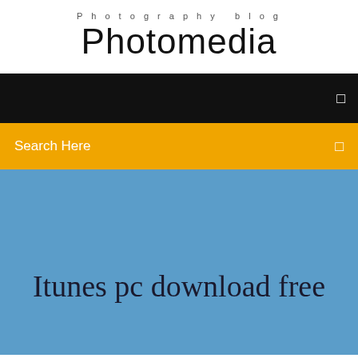Photography blog
Photomedia
[Figure (screenshot): Black navigation bar with a small white menu icon on the right]
Search Here
Itunes pc download free